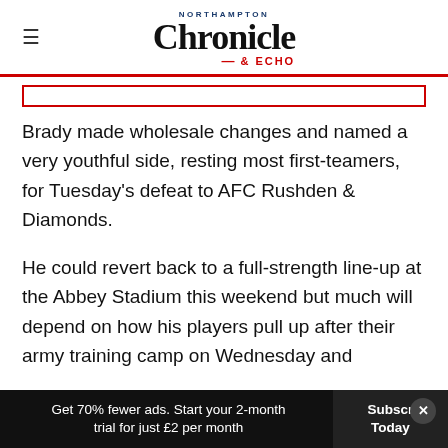NORTHAMPTON Chronicle & ECHO
Brady made wholesale changes and named a very youthful side, resting most first-teamers, for Tuesday's defeat to AFC Rushden & Diamonds.
He could revert back to a full-strength line-up at the Abbey Stadium this weekend but much will depend on how his players pull up after their army training camp on Wednesday and
Get 70% fewer ads. Start your 2-month trial for just £2 per month   Subscribe Today